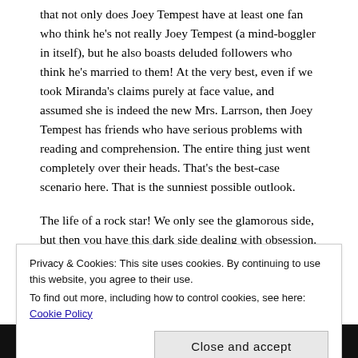that not only does Joey Tempest have at least one fan who think he's not really Joey Tempest (a mind-boggler in itself), but he also boasts deluded followers who think he's married to them!  At the very best, even if we took Miranda's claims purely at face value, and assumed she is indeed the new Mrs. Larrson, then Joey Tempest has friends who have serious problems with reading and comprehension.  The entire thing just went completely over their heads.  That's the best-case scenario here.  That is the sunniest possible outlook.
The life of a rock star!  We only see the glamorous side, but then you have this dark side dealing with obsession.  Or, as the great man (the real Joey, I mean) sang on “Love Chaser”:
Someone’s at your door tonight,
Privacy & Cookies: This site uses cookies. By continuing to use this website, you agree to their use.
To find out more, including how to control cookies, see here: Cookie Policy
Close and accept